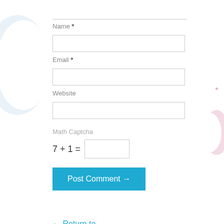Name *
Email *
Website
Math Captcha
Post Comment →
← Return to entry